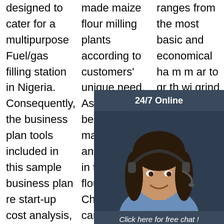designed to cater for a multipurpose Fuel/gas filling station in Nigeria. Consequently, the business plan tools included in this sample business plan re start-up cost analysis, sales and marketing analysis, and ...
made maize flour milling plants according to customers' unique need. As one of the best manufacturers and suppliers in the field of flour milling in China, we can always supply maize milling equipment for markets all
ranges from the most basic and economical ha m m ar to gr th wi grind practically anything
[Figure (infographic): 24/7 Online chat widget with photo of woman wearing headset, dark background with 'Click here for free chat!' text and orange QUOTATION button]